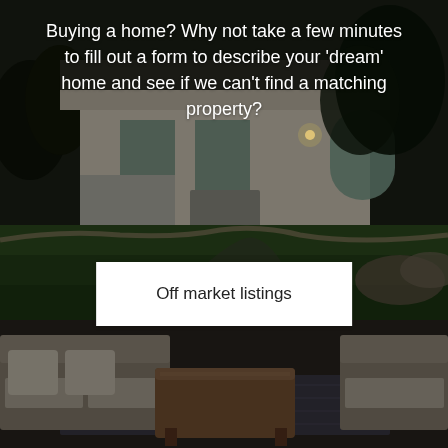[Figure (photo): Exterior photo of a suburban home at dusk with green lawn, white brick facade, arched windows, and trees in background. Dark/dim lighting.]
Buying a home? Why not take a few minutes to fill out a form to describe your 'dream' home and see if we can't find a matching property?
Off market listings
[Figure (photo): Interior/patio photo showing beige outdoor sofa furniture with cushions and a wooden coffee table on a patterned rug. Dark/dim lighting.]